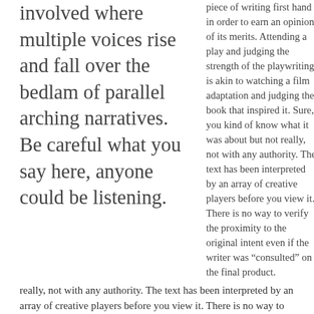involved where multiple voices rise and fall over the bedlam of parallel arching narratives. Be careful what you say here, anyone could be listening.
piece of writing first hand in order to earn an opinion of its merits. Attending a play and judging the strength of the playwriting is akin to watching a film adaptation and judging the book that inspired it. Sure, you kind of know what it was about but not really, not with any authority. The text has been interpreted by an array of creative players before you view it. There is no way to verify the proximity to the original intent even if the writer was “consulted” on the final product.
Also, viewing leaves little room for your own interpretation which is why it’s vital we meet the written work as it was intended. This is